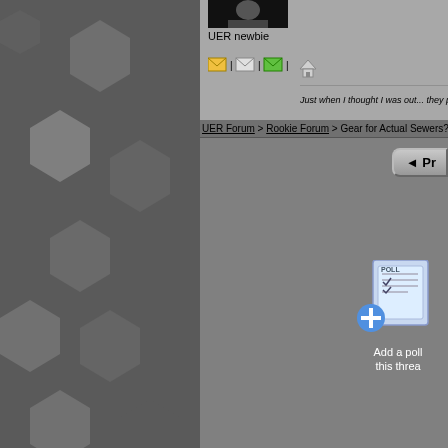[Figure (screenshot): Left sidebar with dark hexagonal pattern on gray background]
UER newbie
[Figure (illustration): Row of small icon buttons: envelope, envelope, green envelope, house]
Just when I thought I was out... they pulled me back
UER Forum > Rookie Forum > Gear for Actual Sewers? (Viewed
Pr
[Figure (illustration): Poll icon with blue plus sign - Add a poll this threa]
Add a poll this threa
This thread is in a public ca
All content and images copyright © 2002-2022 UER
To contact webmaster, or click to email with prob
View Terms of Service | View Privacy P
This page was generated for you in 125 milliseconds. Since